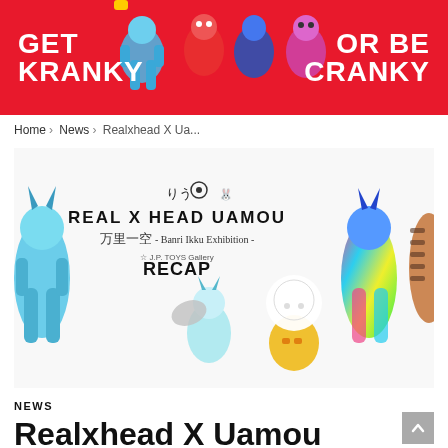[Figure (photo): Red banner advertisement with white text 'GET KRANKY' on left and 'OR BE CRANKY' on right, with toy figures in center]
Home › News › Realxhead X Ua...
[Figure (photo): Exhibition recap image showing 'REAL X HEAD UAMOU 万里一空 - Banri Ikku Exhibition - J.P. TOYS Gallery RECAP' with multiple colorful toy figures]
NEWS
Realxhead X Uamou Banri Ikku Exhibition